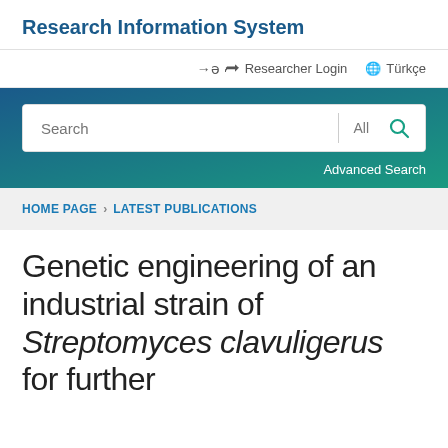Research Information System
Researcher Login   Türkçe
[Figure (screenshot): Search bar with 'Search' input field, 'All' dropdown, and green search icon button, with 'Advanced Search' link below, on a teal/blue gradient background]
HOME PAGE > LATEST PUBLICATIONS
Genetic engineering of an industrial strain of Streptomyces clavuligerus for further